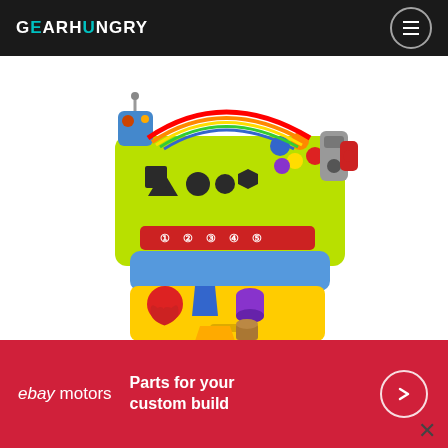GEARHUNGRY
[Figure (photo): A colorful Musical Learning Workbench toy with shape sorter holes, buttons, knobs, and a pull-out drawer containing shape pieces in red, yellow, blue, and purple]
This Musical Learning Workbench has it all – sound effects, lights, tools, and more – all designed to help your toddler build their problem-solving skills while developing spatial awareness and improving hand-
[Figure (other): eBay Motors advertisement banner: Parts for your custom build with arrow button]